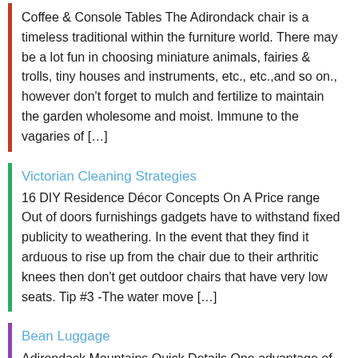Coffee & Console Tables The Adirondack chair is a timeless traditional within the furniture world. There may be a lot fun in choosing miniature animals, fairies & trolls, tiny houses and instruments, etc., etc.,and so on., however don't forget to mulch and fertilize to maintain the garden wholesome and moist. Immune to the vagaries of […]
Victorian Cleaning Strategies
16 DIY Residence Décor Concepts On A Price range Out of doors furnishings gadgets have to withstand fixed publicity to weathering. In the event that they find it arduous to rise up from the chair due to their arthritic knees then don't get outdoor chairs that have very low seats. Tip #3 -The water move […]
Bean Luggage
Adirondack Mountains Quick Details One advantage of